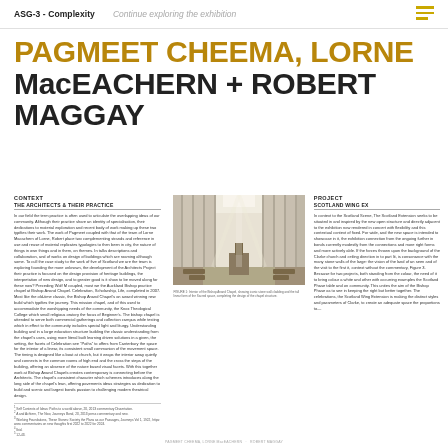ASG-3 - Complexity   Continue exploring the exhibition
PAGMEET CHEEMA, LORNE MacEACHERN + ROBERT MAGGAY
CONTEXT
THE ARCHITECTS & THEIR PRACTICE
In our field the term practice is often used to articulate the overlapping ideas of our community...
[Figure (photo): Interior of a chapel with tall vertical white stone or marble walls, dramatic lighting, and wooden altar]
FIGURE 1: Interior of Bishop Anand Chapel, showing the stone walls and natural light falling through the space
PROJECT
SCOTLAND WING EX
In context to the Scottish Scene, The Scotland Extension seeks to be situated in and inspired by the new open structure and directly adjacent to the exhibition now rendered in concert with flexibility...
PAGMEET CHEEMA, LORNE MacEACHERN + ROBERT MAGGAY